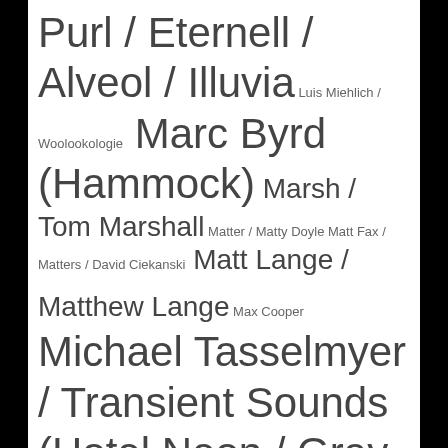Purl / Eternell / Alveol / Illuvia Luis Miehlich / Woolookologie Marc Byrd (Hammock) Marsh / Tom Marshall Matter / Matty Doyle Matt Fax / Matters / David Ciekanski Matt Lange / Matthew Lange Max Cooper Michael Tasselmyer / Transient Sounds (Hotel Neon / Gray Acres) Monojoke / Jacek Gumbisz (Fluente) Nick Harriman (Dusky / Solarity) Nils Frahm (Oliveray / Nonkeen) Olan Mill / Alex Smalley (Pausal / Ilm) Peter Kriek (16BL / 16 Bit Lolitas / Cubicolor) Poemme / Angela Klimek PROFF / Vladimir Ershov Ryan Davis / Sebastian Woek Shingo Nakamura SineRider / Devin